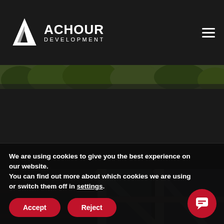[Figure (logo): Achour Development logo — white triangular A-shaped icon with company name]
[Figure (photo): Narrow strip of green trees / foliage seen from below]
[Figure (photo): Looking up at a modern multi-story building with geometric white frame structure and blue-tinted glass windows]
We are using cookies to give you the best experience on our website.
You can find out more about which cookies we are using or switch them off in settings.
Accept
Reject